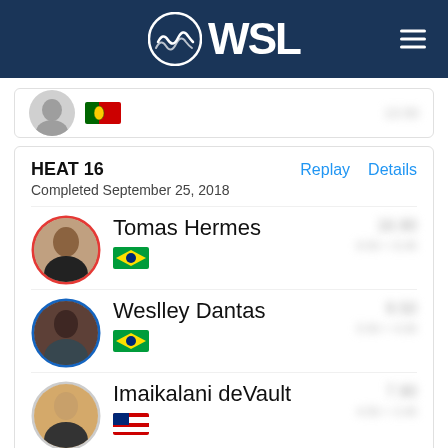WSL
HEAT 16
Completed September 25, 2018
Tomas Hermes
Weslley Dantas
Imaikalani deVault
Alonso Correa